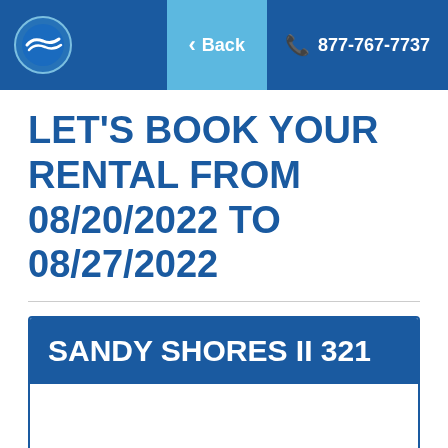Back  877-767-7737
LET'S BOOK YOUR RENTAL FROM 08/20/2022 TO 08/27/2022
SANDY SHORES II 321